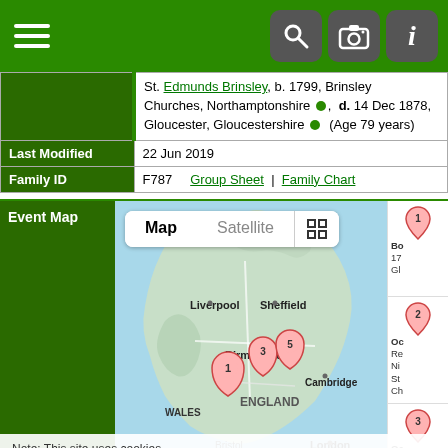[Figure (screenshot): Mobile app navigation bar with hamburger menu icon on left, and search, camera, info icons on right, green background]
|  | St. Edmund's Brinsley, b. 1799, Brinsley Churches, Northamptonshire, d. 14 Dec 1878, Gloucester, Gloucestershire (Age 79 years) |
| Last Modified | 22 Jun 2019 |
| Family ID | F787  Group Sheet | Family Chart |
[Figure (map): Event Map showing England and Wales with numbered location pins (1-5) placed around the Midlands area. Map/Satellite toggle buttons visible. Right sidebar shows numbered pin entries with partial text for Bo, Oc, Oc entries.]
Note: This site uses cookies.
• View policy
I understand